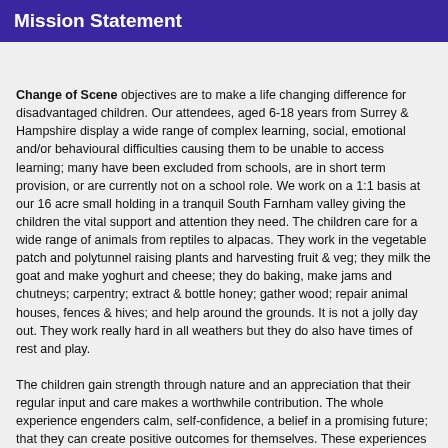Mission Statement
Change of Scene objectives are to make a life changing difference for disadvantaged children. Our attendees, aged 6-18 years from Surrey & Hampshire display a wide range of complex learning, social, emotional and/or behavioural difficulties causing them to be unable to access learning; many have been excluded from schools, are in short term provision, or are currently not on a school role. We work on a 1:1 basis at our 16 acre small holding in a tranquil South Farnham valley giving the children the vital support and attention they need. The children care for a wide range of animals from reptiles to alpacas. They work in the vegetable patch and polytunnel raising plants and harvesting fruit & veg; they milk the goat and make yoghurt and cheese; they do baking, make jams and chutneys; carpentry; extract & bottle honey; gather wood; repair animal houses, fences & hives; and help around the grounds. It is not a jolly day out. They work really hard in all weathers but they do also have times of rest and play.
The children gain strength through nature and an appreciation that their regular input and care makes a worthwhile contribution. The whole experience engenders calm, self-confidence, a belief in a promising future; that they can create positive outcomes for themselves. These experiences and the